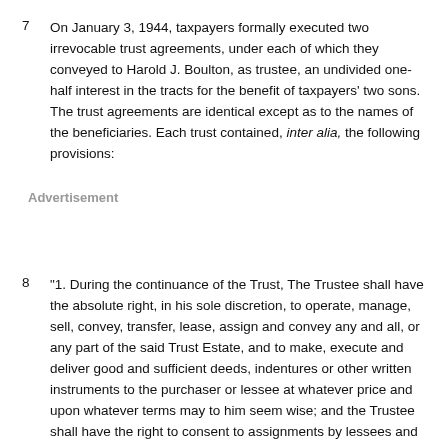On January 3, 1944, taxpayers formally executed two irrevocable trust agreements, under each of which they conveyed to Harold J. Boulton, as trustee, an undivided one-half interest in the tracts for the benefit of taxpayers' two sons. The trust agreements are identical except as to the names of the beneficiaries. Each trust contained, inter alia, the following provisions:
Advertisement
"1. During the continuance of the Trust, The Trustee shall have the absolute right, in his sole discretion, to operate, manage, sell, convey, transfer, lease, assign and convey any and all, or any part of the said Trust Estate, and to make, execute and deliver good and sufficient deeds, indentures or other written instruments to the purchaser or lessee at whatever price and upon whatever terms may to him seem wise; and the Trustee shall have the right to consent to assignments by lessees and to modify or cancel lease contracts for any part of the trust estate, if power and occasion should be reserved or arise under the terms of the lease agreement or